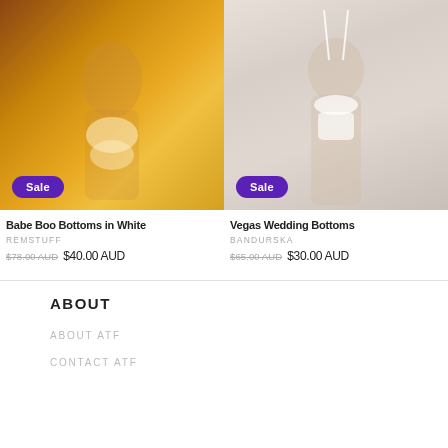[Figure (photo): Product photo of Babe Boo Bottoms in White by REMSTUFF, shown on a model against a warm golden/orange background. A purple 'Sale' badge is overlaid at the bottom left.]
Babe Boo Bottoms in White
REMSTUFF
$78.00 AUD  $40.00 AUD
[Figure (photo): Product photo of Vegas Wedding Bottoms by BANDURSKA, shown on a model from behind wearing white swimwear against a white/light background. A purple 'Sale' badge is overlaid at the bottom left.]
Vegas Wedding Bottoms
BANDURSKA
$65.00 AUD  $30.00 AUD
ABOUT
ABOUT ATF
CONTACT ATF